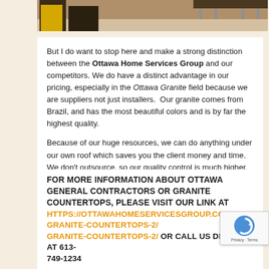[Figure (photo): Partial photo of a person with yellow equipment on a floor, with dark furniture legs visible in the background]
But I do want to stop here and make a strong distinction between the Ottawa Home Services Group and our competitors. We do have a distinct advantage in our pricing, especially in the Ottawa Granite field because we are suppliers not just installers.  Our granite comes from Brazil, and has the most beautiful colors and is by far the highest quality.
Because of our huge resources, we can do anything under our own roof which saves you the client money and time. We don't outsource, so our quality control is much higher. So rather than deal with several different Ottawa general contactors
FOR MORE INFORMATION ABOUT OTTAWA GENERAL CONTRACTORS OR GRANITE COUNTERTOPS, PLEASE VISIT OUR LINK AT HTTPS://OTTAWAHOMESERVICESGROUP.COM/OTTAWA-GRANITE-COUNTERTOPS-2/ OR CALL US DIRECTLY AT 613-749-1234